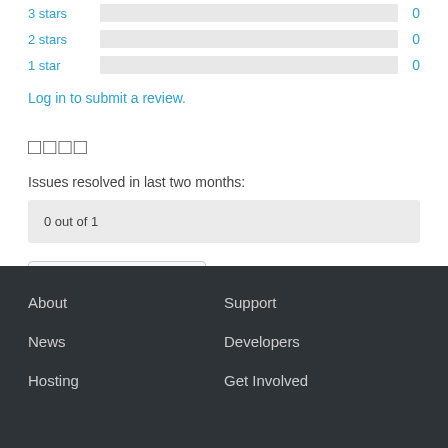3 stars  0
2 stars  0
1 star  0
Log in to submit a review.
□□□□
Issues resolved in last two months:
0 out of 1
View support forum
About  Support  News  Developers  Hosting  Get Involved